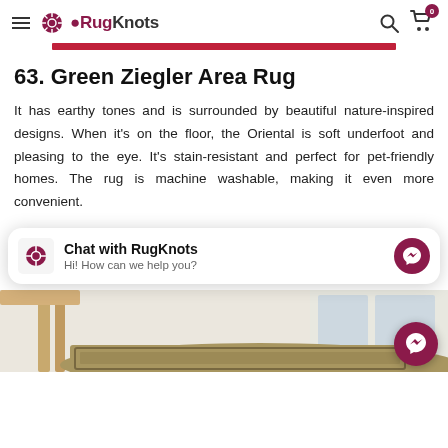RugKnots
63. Green Ziegler Area Rug
It has earthy tones and is surrounded by beautiful nature-inspired designs. When it's on the floor, the Oriental is soft underfoot and pleasing to the eye. It's stain-resistant and perfect for pet-friendly homes. The rug is machine washable, making it even more convenient.
[Figure (screenshot): Chat widget overlay showing RugKnots logo, 'Chat with RugKnots' heading, and 'Hi! How can we help you?' subtext with messenger icon]
[Figure (photo): Bottom portion of a room scene showing a green Ziegler area rug on a white floor near a wooden table leg and window]